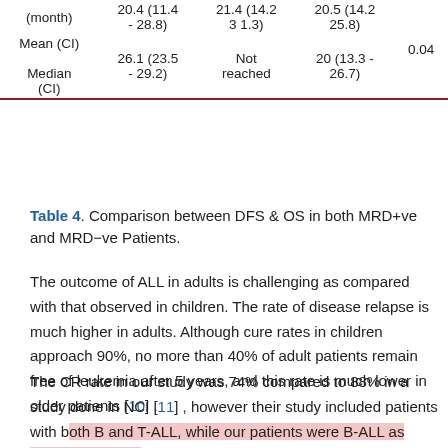| (month) |  |  |  |
| --- | --- | --- | --- |
| Mean (CI) | 20.4 (11.4 - 28.8) | 21.4 (11.2 - 31.3) | 20.5 (14.2 - 25.8) | 0.04 |
| Median (CI) | 26.1 (23.5 - 29.2) | Not reached | 20 (13.3 - 26.7) |  |
Table 4. Comparison between DFS & OS in both MRD+ve and MRD−ve Patients.
The outcome of ALL in adults is challenging as compared with that observed in children. The rate of disease relapse is much higher in adults. Although cure rates in children approach 90%, no more than 40% of adult patients remain free of leukemia after 5 years, and this rate is much lower in older patients [10] .
The CR rate in our study was 74% compared to 88% in a study done in NCI [11] , however their study included patients with both B and T-ALL, while our patients were B-ALL as shown in Table 1.